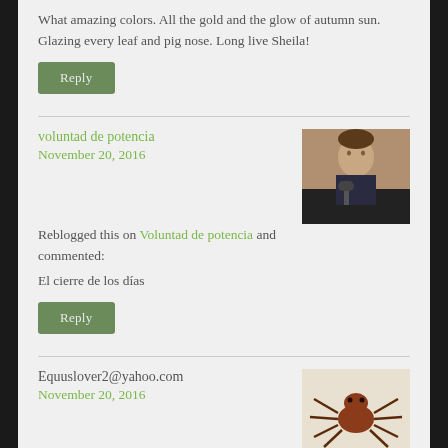What amazing colors. All the gold and the glow of autumn sun. Glazing every leaf and pig nose. Long live Sheila!
Reply
voluntad de potencia
November 20, 2016
[Figure (photo): Avatar photo of a person at a podium/microphone]
Reblogged this on Voluntad de potencia and commented:
El cierre de los días
Reply
Equuslover2@yahoo.com
November 20, 2016
[Figure (illustration): Avatar illustration of a spider/tick creature]
There is nothing more satisfying that